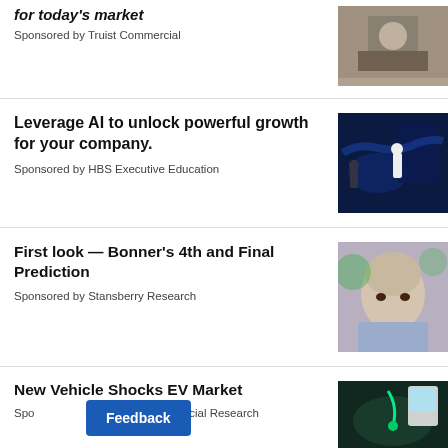for today's market
Sponsored by Truist Commercial
Leverage AI to unlock powerful growth for your company.
Sponsored by HBS Executive Education
First look — Bonner's 4th and Final Prediction
Sponsored by Stansberry Research
New Vehicle Shocks EV Market
Sponsored by Empire Financial Research